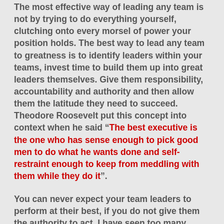The most effective way of leading any team is not by trying to do everything yourself, clutching onto every morsel of power your position holds. The best way to lead any team to greatness is to identify leaders within your teams, invest time to build them up into great leaders themselves. Give them responsibility, accountability and authority and then allow them the latitude they need to succeed. Theodore Roosevelt put this concept into context when he said “The best executive is the one who has sense enough to pick good men to do what he wants done and self-restraint enough to keep from meddling with them while they do it”.
You can never expect your team leaders to perform at their best, if you do not give them the authority to act. I have seen too many insecure leaders who constantly undermine their people because they cannot let go of the reigns. The reality is that when any insecure leader cannot delegate authority to his or her team leaders. He or she does not only undermine his people as leaders, but by not empowering them, he or she undermines their own